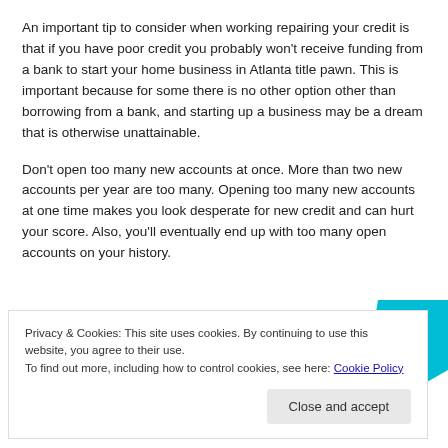An important tip to consider when working repairing your credit is that if you have poor credit you probably won't receive funding from a bank to start your home business in Atlanta title pawn. This is important because for some there is no other option other than borrowing from a bank, and starting up a business may be a dream that is otherwise unattainable.
Don't open too many new accounts at once. More than two new accounts per year are too many. Opening too many new accounts at one time makes you look desperate for new credit and can hurt your score. Also, you'll eventually end up with too many open accounts on your history.
[Figure (screenshot): Partial advertisement banner showing text 'Subscriptions online' in bold italic underlined style, a purple 'Start a new store' button, and a cyan/blue geometric shape on the right.]
Privacy & Cookies: This site uses cookies. By continuing to use this website, you agree to their use.
To find out more, including how to control cookies, see here: Cookie Policy
Close and accept